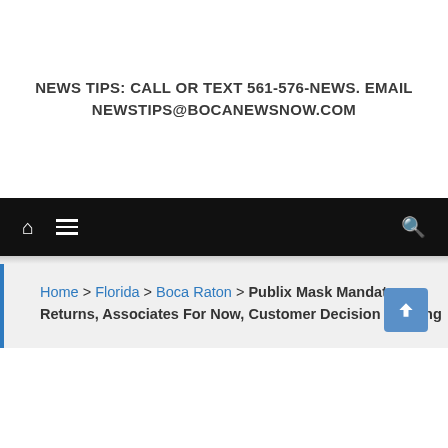NEWS TIPS: CALL OR TEXT 561-576-NEWS. EMAIL NEWSTIPS@BOCANEWSNOW.COM
[Figure (screenshot): Black navigation bar with home icon, hamburger menu icon on left and search icon on right]
Home > Florida > Boca Raton > Publix Mask Mandate Returns, Associates For Now, Customer Decision Pending